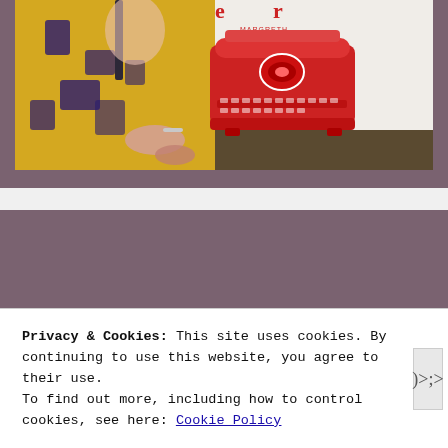[Figure (photo): A person wearing a yellow and blue patterned dress sitting against a white wall with a red typewriter graphic/graffiti printed on it.]
Instagram
No Instagram images were found.
Privacy & Cookies: This site uses cookies. By continuing to use this website, you agree to their use.
To find out more, including how to control cookies, see here: Cookie Policy
Close and accept